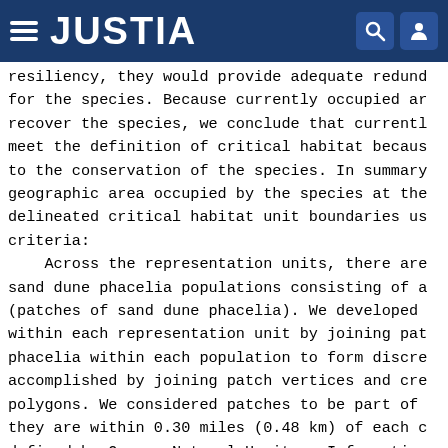JUSTIA
resiliency, they would provide adequate redund for the species. Because currently occupied ar recover the species, we conclude that currentl meet the definition of critical habitat becaus to the conservation of the species. In summary geographic area occupied by the species at the delineated critical habitat unit boundaries us criteria:
    Across the representation units, there are sand dune phacelia populations consisting of a (patches of sand dune phacelia). We developed within each representation unit by joining pat phacelia within each population to form discre accomplished by joining patch vertices and cre polygons. We considered patches to be part of they are within 0.30 miles (0.48 km) of each c defined by Oregon Natural Heritage Information